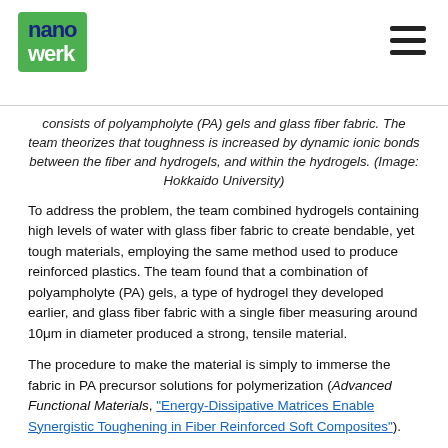nanowerk
consists of polyampholyte (PA) gels and glass fiber fabric. The team theorizes that toughness is increased by dynamic ionic bonds between the fiber and hydrogels, and within the hydrogels. (Image: Hokkaido University)
To address the problem, the team combined hydrogels containing high levels of water with glass fiber fabric to create bendable, yet tough materials, employing the same method used to produce reinforced plastics. The team found that a combination of polyampholyte (PA) gels, a type of hydrogel they developed earlier, and glass fiber fabric with a single fiber measuring around 10μm in diameter produced a strong, tensile material.
The procedure to make the material is simply to immerse the fabric in PA precursor solutions for polymerization (Advanced Functional Materials, "Energy-Dissipative Matrices Enable Synergistic Toughening in Fiber Reinforced Soft Composites").
When used alone, the fiber-reinforced hydrogels